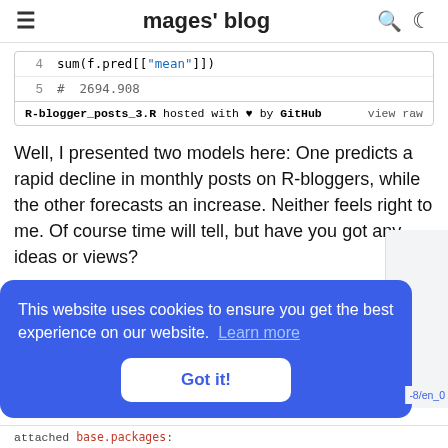≡  mages' blog  🔍 🌙
sum(f.pred[["mean"]])
# 2694.908
R-blogger_posts_3.R hosted with ♥ by GitHub   view raw
Well, I presented two models here: One predicts a rapid decline in monthly posts on R-bloggers, while the other forecasts an increase. Neither feels right to me. Of course time will tell, but have you got any ideas or views?
This website uses cookies to ensure you get the best experience on our website. Learn more
Got it!
attached base.packages: